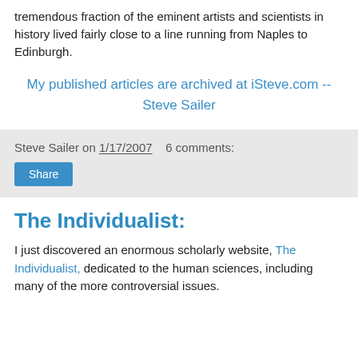tremendous fraction of the eminent artists and scientists in history lived fairly close to a line running from Naples to Edinburgh.
My published articles are archived at iSteve.com -- Steve Sailer
Steve Sailer on 1/17/2007   6 comments:
The Individualist:
I just discovered an enormous scholarly website, The Individualist, dedicated to the human sciences, including many of the more controversial issues.